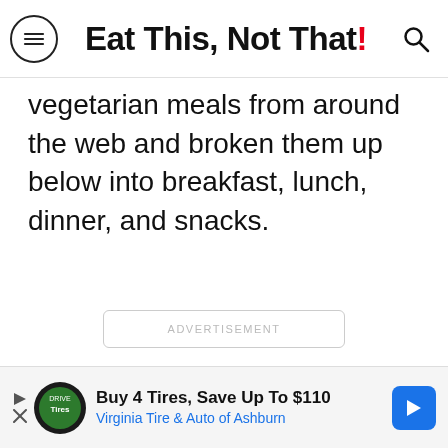Eat This, Not That!
vegetarian meals from around the web and broken them up below into breakfast, lunch, dinner, and snacks.
[Figure (other): Advertisement placeholder box with text ADVERTISEMENT]
[Figure (other): Advertisement banner: Buy 4 Tires, Save Up To $110 — Virginia Tire & Auto of Ashburn]